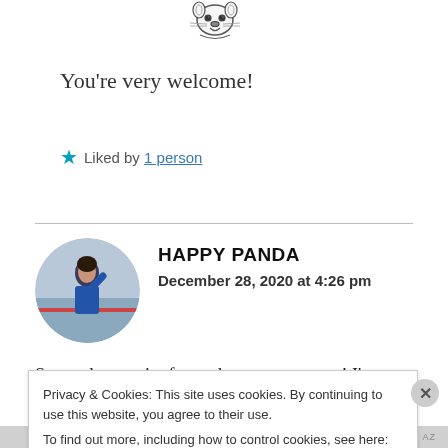[Figure (illustration): Small hand-drawn cartoon illustration of a character, appears to be a cute animal or character sketch in pencil/ink style]
You're very welcome!
★ Liked by 1 person
HAPPY PANDA
December 28, 2020 at 4:26 pm
So much maturity for such a young person! I'm
Privacy & Cookies: This site uses cookies. By continuing to use this website, you agree to their use.
To find out more, including how to control cookies, see here: Cookie Policy
Close and accept
NOPD FICTION AZ